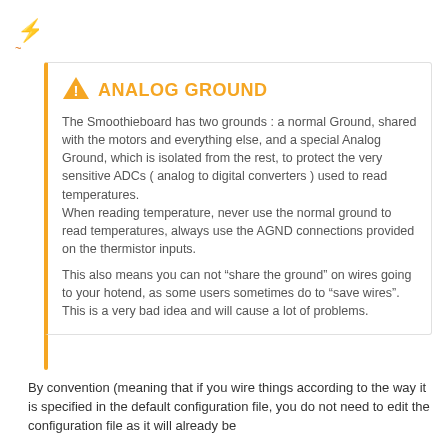[Figure (illustration): Small decorative icon/logo in the top-left sidebar area]
ANALOG GROUND
The Smoothieboard has two grounds : a normal Ground, shared with the motors and everything else, and a special Analog Ground, which is isolated from the rest, to protect the very sensitive ADCs ( analog to digital converters ) used to read temperatures.
When reading temperature, never use the normal ground to read temperatures, always use the AGND connections provided on the thermistor inputs.

This also means you can not “share the ground” on wires going to your hotend, as some users sometimes do to “save wires”. This is a very bad idea and will cause a lot of problems.
By convention (meaning that if you wire things according to the way it is specified in the default configuration file, you do not need to edit the configuration file as it will already be